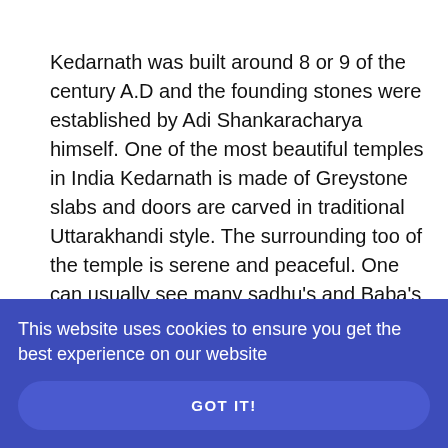Kedarnath was built around 8 or 9 of the century A.D and the founding stones were established by Adi Shankaracharya himself. One of the most beautiful temples in India Kedarnath is made of Greystone slabs and doors are carved in traditional Uttarakhandi style. The surrounding too of the temple is serene and peaceful. One can usually see many sadhu's and Baba's around here because it's their favorite place to worship Lord Shiva.

To Reach Kedarnath the nearest motorable village is Gaurikund. One can reach Gaurikund via Dehradun
[Figure (other): Social media share buttons sidebar: Facebook (blue), Twitter (light blue), Pinterest (red)]
This website uses cookies to ensure you get the best experience on our website
GOT IT!